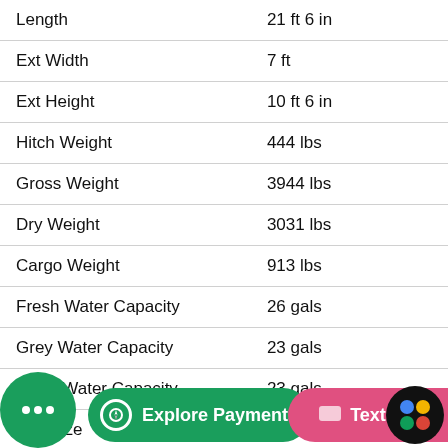| Specification | Value |
| --- | --- |
| Length | 21 ft 6 in |
| Ext Width | 7 ft |
| Ext Height | 10 ft 6 in |
| Hitch Weight | 444 lbs |
| Gross Weight | 3944 lbs |
| Dry Weight | 3031 lbs |
| Cargo Weight | 913 lbs |
| Fresh Water Capacity | 26 gals |
| Grey Water Capacity | 23 gals |
| Black Water Capacity | 23 gals |
| Tire Size | 14" |
| Furnace BTU | 20000 btu |